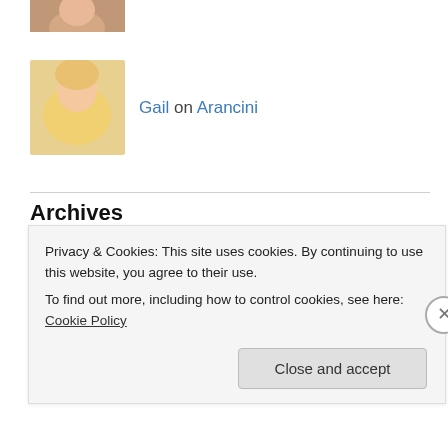[Figure (photo): Small cropped photo of a person at the top]
Gail on Arancini
[Figure (photo): Photo of a woman with blonde hair wearing yellow]
Archives
August 2022
July 2022
September 2020
June 2020
May 2020
April 2020
Privacy & Cookies: This site uses cookies. By continuing to use this website, you agree to their use.
To find out more, including how to control cookies, see here: Cookie Policy